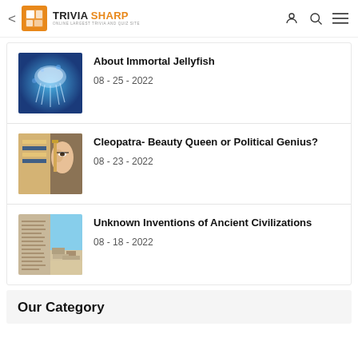TRIVIA SHARP — ONLINE LARGEST TRIVIA AND QUIZ SITE
About Immortal Jellyfish
08 - 25 - 2022
Cleopatra- Beauty Queen or Political Genius?
08 - 23 - 2022
Unknown Inventions of Ancient Civilizations
08 - 18 - 2022
Our Category